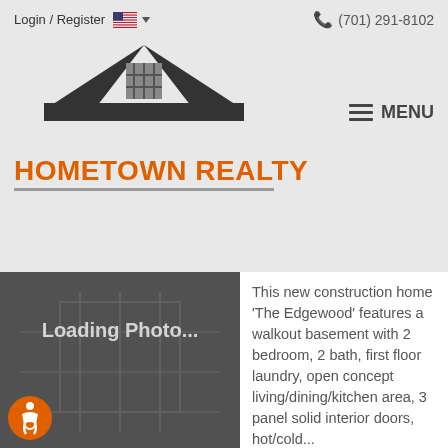Login / Register  (701) 291-8102
[Figure (logo): Hometown Realty logo with house icon and orange text]
[Figure (photo): Loading Photo... placeholder image showing blueprint/architectural drawing on dark background]
This new construction home 'The Edgewood' features a walkout basement with 2 bedroom, 2 bath, first floor laundry, open concept living/dining/kitchen area, 3 panel solid interior doors, hot/cold...
Amy Washkovick of Better Homes And Gardens Real Estate